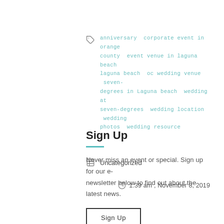anniversary  corporate event in orange county  event venue in laguna beach  laguna beach  oc wedding venue  seven-degrees in Laguna beach  wedding at seven-degrees  wedding location  wedding photos  wedding resource
Uncategorized
1:39 am , November 8, 2019
Sign Up
Never miss an event or special. Sign up for our e-newsletter below to find out about the latest news.
Sign Up